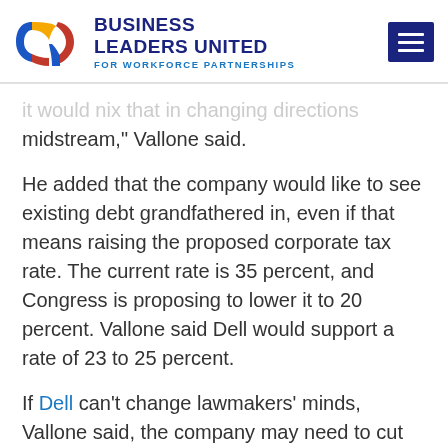BUSINESS LEADERS UNITED FOR WORKFORCE PARTNERSHIPS
midstream," Vallone said.
He added that the company would like to see existing debt grandfathered in, even if that means raising the proposed corporate tax rate. The current rate is 35 percent, and Congress is proposing to lower it to 20 percent. Vallone said Dell would support a rate of 23 to 25 percent.
If Dell can't change lawmakers' minds, Vallone said, the company may need to cut jobs and raise prices.